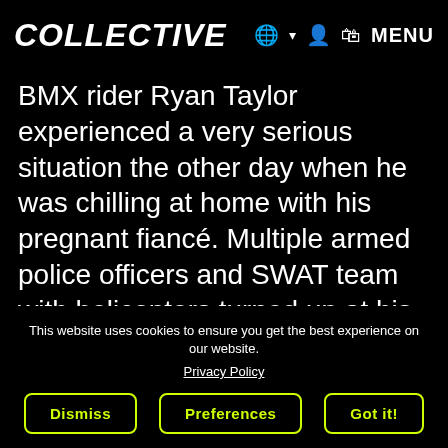COLLECTIVE  🌐 ▾  👤  🛒  MENU
BMX rider Ryan Taylor experienced a very serious situation the other day when he was chilling at home with his pregnant fiancé. Multiple armed police officers and SWAT team with helicopters turned up at his house and held heavy loaded guns at him and contained him. Ryan Taylor was totally confused and shooked and told them not to hurt his
This website uses cookies to ensure you get the best experience on our website.
Privacy Policy
Dismiss  Preferences  Got it!